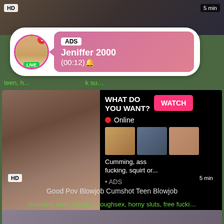[Figure (screenshot): Top video thumbnail with HD badge and 5 min label]
[Figure (screenshot): Ad popup notification with avatar, LIVE badge, ADS label, name Jeniffer 2000, time (00:12)]
teen, h... ck su...
[Figure (screenshot): Main ad block: WHAT DO YOU WANT? WATCH button, Online indicator, thumbnail images, Cumming, ass fucking, squirt or... • ADS]
HD
5 min
Good Pov Blowjob Cumshot Teen Blowjob
cumshot, teen, blowjob, roughsex, horny sluts, free fucki...
[Figure (screenshot): Bottom partial video thumbnail]